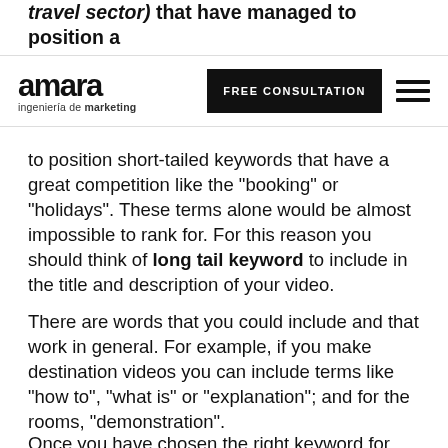travel sector) that have managed to position a video in the SERPs.
[Figure (logo): Amara ingeniería de marketing logo with FREE CONSULTATION button and hamburger menu]
to position short-tailed keywords that have a great competition like the "booking" or "holidays". These terms alone would be almost impossible to rank for. For this reason you should think of long tail keyword to include in the title and description of your video.
There are words that you could include and that work in general. For example, if you make destination videos you can include terms like "how to", "what is" or "explanation"; and for the rooms, "demonstration".
Once you have chosen the right keyword for